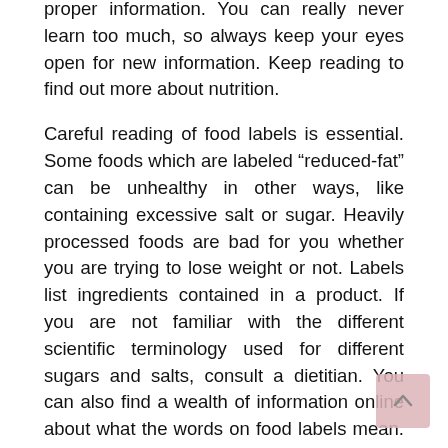proper information. You can really never learn too much, so always keep your eyes open for new information. Keep reading to find out more about nutrition.
Careful reading of food labels is essential. Some foods which are labeled “reduced-fat” can be unhealthy in other ways, like containing excessive salt or sugar. Heavily processed foods are bad for you whether you are trying to lose weight or not. Labels list ingredients contained in a product. If you are not familiar with the different scientific terminology used for different sugars and salts, consult a dietitian. You can also find a wealth of information online about what the words on food labels mean. The foods you consume should not contain many artificial ingredients.
Eat 600 to 900mg of garlic daily. Garlic naturally fights such diseases as heart disease and cancer. Also, it can help your organs with its antibacterial characteristics. You can enhance your health and the flavor of your food by adding fresh garlic or garlic extracts to your daily meals.